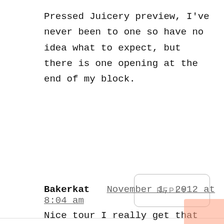Pressed Juicery preview, I've never been to one so have no idea what to expect, but there is one opening at the end of my block.
REPLY
Bakerkat   November 1, 2012 at 8:04 am
Nice tour I really get that LA feeling. You made me want to go to Venice Beach and Pier. Neat City.